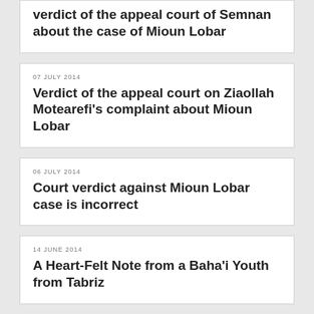verdict of the appeal court of Semnan about the case of Mioun Lobar
07 JULY 2014
Verdict of the appeal court on Ziaollah Motearefi's complaint about Mioun Lobar
06 JULY 2014
Court verdict against Mioun Lobar case is incorrect
14 JUNE 2014
A Heart-Felt Note from a Baha'i Youth from Tabriz
10 JUNE 2014
Letter from Baha'is of Ivel to Article 49 Court in Mazandaran Province about ownership of